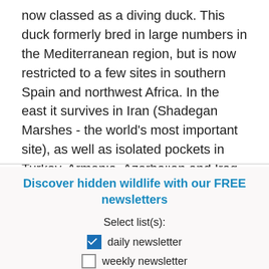now classed as a diving duck. This duck formerly bred in large numbers in the Mediterranean region, but is now restricted to a few sites in southern Spain and northwest Africa. In the east it survives in Iran (Shadegan Marshes - the world's most important site), as well as isolated pockets in Turkey, Armenia, Azerbaijan and Iraq.
3 Photos
Discover hidden wildlife with our FREE newsletters
Select list(s):
daily newsletter
weekly newsletter